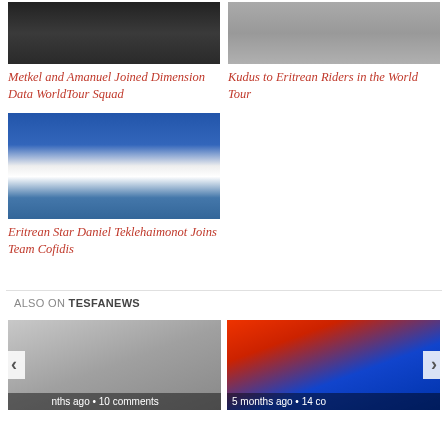[Figure (photo): Dimension Data cycling team group photo]
Metkel and Amanuel Joined Dimension Data WorldTour Squad
[Figure (photo): Kudus cycling photo with team bus]
Kudus to Eritrean Riders in the World Tour
[Figure (photo): Daniel Teklehaimonot at Giro d'Italia podium in white jersey holding child]
Eritrean Star Daniel Teklehaimonot Joins Team Cofidis
ALSO ON TESFANEWS
[Figure (photo): Group of people in formal attire outside a building]
[Figure (photo): Cyclist wearing mask with Lotto Sane team branding]